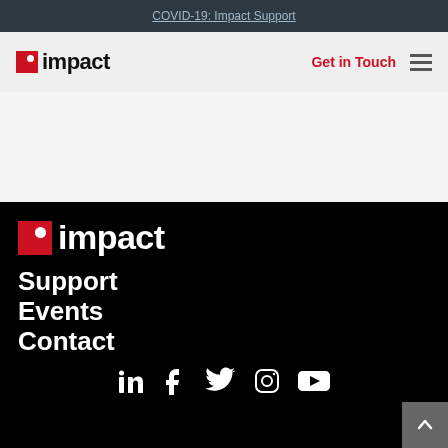COVID-19: Impact Support
[Figure (logo): Impact logo with red square icon and bold black text 'impact', with 'Get in Touch' in red and hamburger menu icon]
[Figure (logo): Impact logo large white text on black background with red square icon]
Support
Events
Contact
[Figure (infographic): Social media icons: LinkedIn, Facebook, Twitter, Instagram, YouTube]